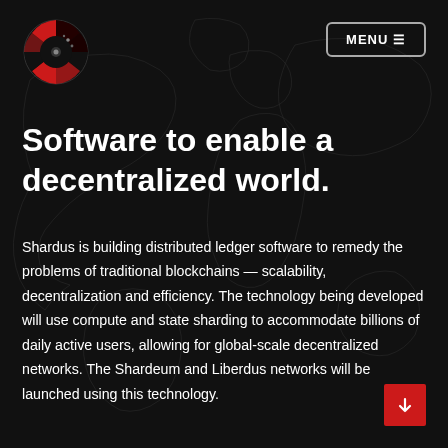[Figure (logo): Shardus circular logo with red and dark segments and a dot pattern, top left]
MENU ≡
Software to enable a decentralized world.
Shardus is building distributed ledger software to remedy the problems of traditional blockchains — scalability, decentralization and efficiency. The technology being developed will use compute and state sharding to accommodate billions of daily active users, allowing for global-scale decentralized networks. The Shardeum and Liberdus networks will be launched using this technology.